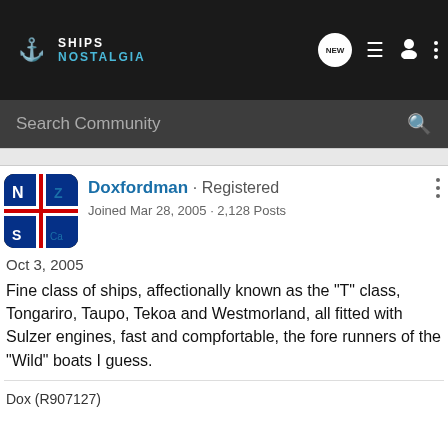SHIPS NOSTALGIA
Search Community
Doxfordman · Registered
Joined Mar 28, 2005 · 2,128 Posts
Oct 3, 2005
Fine class of ships, affectionally known as the &quot;T&quot; class, Tongariro, Taupo, Tekoa and Westmorland, all fitted with Sulzer engines, fast and compfortable, the fore runners of the &quot;Wild&quot; boats I guess.
Dox (R907127)